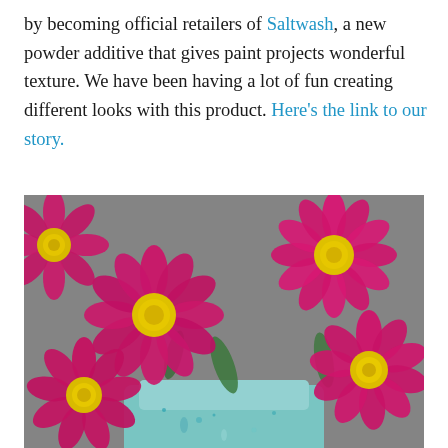by becoming official retailers of Saltwash, a new powder additive that gives paint projects wonderful texture. We have been having a lot of fun creating different looks with this product. Here's the link to our story.
[Figure (photo): Close-up photograph of bright pink/magenta daisy flowers with yellow centers, arranged in a light blue painted vase or container, shot against a grey background]